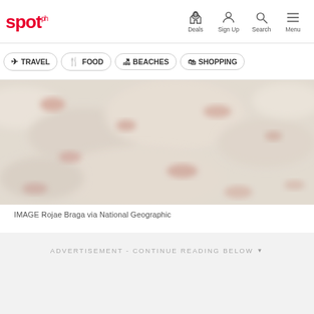spot.ph — Deals, Sign Up, Search, Menu
TRAVEL
FOOD
BEACHES
SHOPPING
[Figure (photo): Blurred close-up photograph of what appears to be a sandy or rocky surface with pinkish coral-colored accents, attributed to Rojae Braga via National Geographic]
IMAGE Rojae Braga via National Geographic
ADVERTISEMENT - CONTINUE READING BELOW